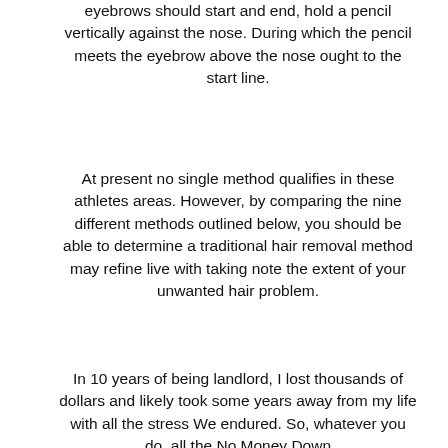eyebrows should start and end, hold a pencil vertically against the nose. During which the pencil meets the eyebrow above the nose ought to the start line.
At present no single method qualifies in these athletes areas. However, by comparing the nine different methods outlined below, you should be able to determine a traditional hair removal method may refine live with taking note the extent of your unwanted hair problem.
In 10 years of being landlord, I lost thousands of dollars and likely took some years away from my life with all the stress We endured. So, whatever you do, all the No Money Down